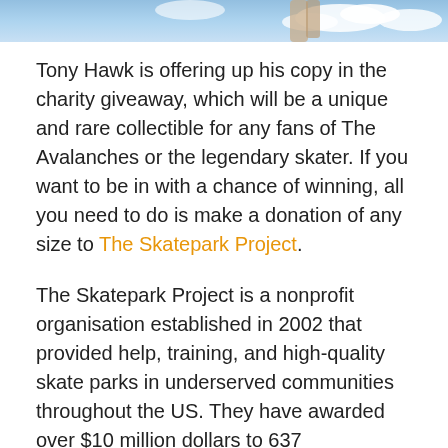[Figure (photo): Partial photo at top of page showing a hand against a blue sky with clouds]
Tony Hawk is offering up his copy in the charity giveaway, which will be a unique and rare collectible for any fans of The Avalanches or the legendary skater. If you want to be in with a chance of winning, all you need to do is make a donation of any size to The Skatepark Project.
The Skatepark Project is a nonprofit organisation established in 2002 that provided help, training, and high-quality skate parks in underserved communities throughout the US. They have awarded over $10 million dollars to 637 communities in the time they've been up and running.
The Avalanches recently released new track Wherever You Go with Jamie XX. The track also features up and